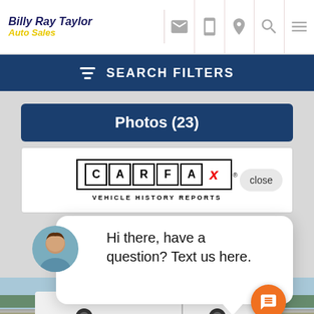Billy Ray Taylor Auto Sales
SEARCH FILTERS
Photos (23)
[Figure (logo): CARFAX Vehicle History Reports logo]
close
Hi there, have a question? Text us here.
[Figure (photo): White pickup truck at car dealership lot with trees in background]